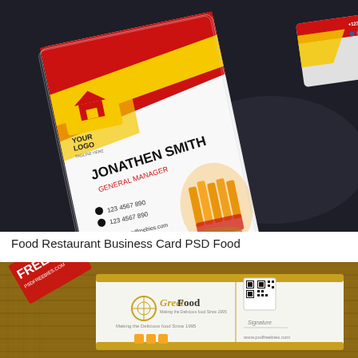[Figure (photo): Photo of restaurant food business cards with red, yellow and white design, featuring 'YOUR LOGO', 'JONATHEN SMITH GENERAL MANAGER', contact info, fries and burger food imagery, on dark background]
Food Restaurant Business Card PSD Food
[Figure (photo): Photo of 'Greet Food' business card with gold/tan accents on burlap texture background, showing QR code, logo, social media icons, 'FREE PSD PSDFREEBIES.COM' watermark]